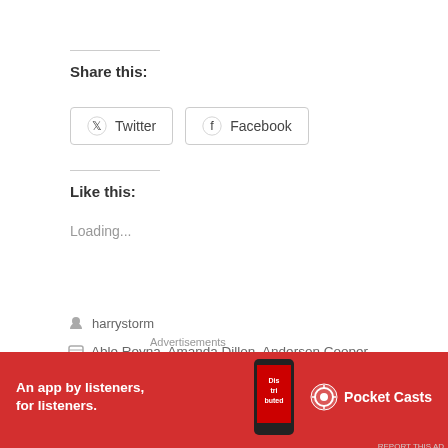Share this:
Twitter  Facebook
Like this:
Loading...
harrystorm
Able Reyna, Amanda Dillon, Anderson Cooper, Anderson Cooper 360, Ann Coulter, Baylor men, Baylor Men against Toxic Masculinity, Baylor rapist, Judge Ralph
[Figure (screenshot): Pocket Casts advertisement banner: red background with text 'An app by listeners, for listeners.' and Pocket Casts logo]
Advertisements